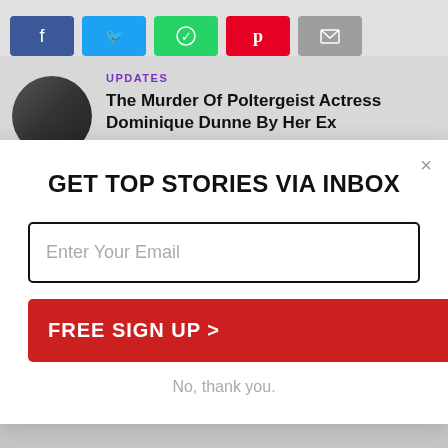[Figure (infographic): Social share buttons: Facebook (blue), Twitter (light blue), WhatsApp (green), Pinterest (red), Email (grey)]
[Figure (photo): Circular avatar photo, partially visible, dark tones]
UPDATES
The Murder Of Poltergeist Actress Dominique Dunne By Her Ex
GET TOP STORIES VIA INBOX
Enter Your Email
FREE SIGN UP >
No, thank you.
[Figure (photo): Circular photo of Ezra Miller, dark background, person with dark hair]
UPDATES
Has Ezra Miller been ‘fired from The Flash’ By Warner Bros.?